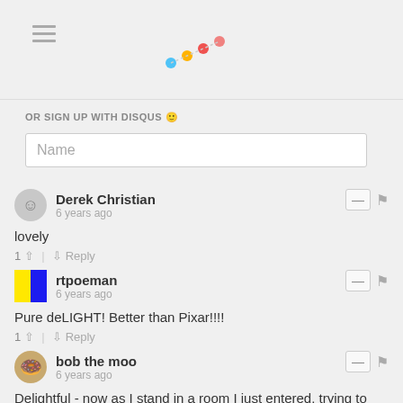OR SIGN UP WITH DISQUS
Name
Derek Christian
6 years ago
lovely
1 ↑ | ↓ Reply
rtpoeman
6 years ago
Pure deLIGHT! Better than Pixar!!!!
1 ↑ | ↓ Reply
bob the moo
6 years ago
Delightful - now as I stand in a room I just entered, trying to remember what I went in there to get, I will imagine the thought bouncing round my head trying to find a